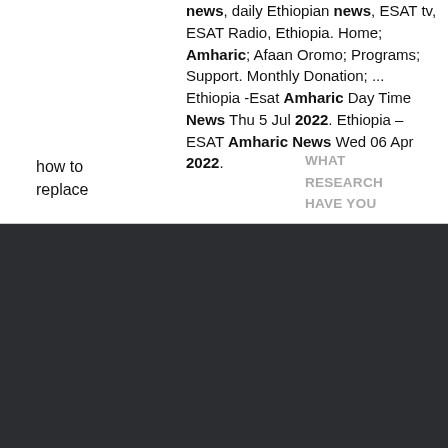news, daily Ethiopian news, ESAT tv, ESAT Radio, Ethiopia. Home; Amharic; Afaan Oromo; Programs; Support. Monthly Donation; ... Ethiopia -Esat Amharic Day Time News Thu 5 Jul 2022. Ethiopia – ESAT Amharic News Wed 06 Apr 2022.
how to replace
WHAT RESEARCH HAVE YOU
aries blood witch
Amhara TV Live, START watching NOW for FREE, live Amhara TV News streaming Ethiopia, Ethiopian Live TV...Amhara TV is run by AMMA or the Amhara Mass Media Agency, which is the Media Organization of the Amhara Regional State Government in Ethiopia.It operates one free to-air television station which is Amhara TV and one free-to-air radio station.. "/>.